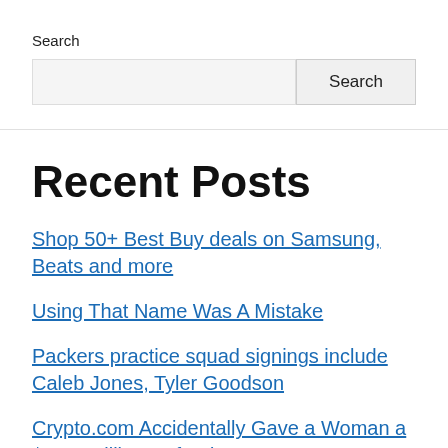Search
Search [input field] Search [button]
Recent Posts
Shop 50+ Best Buy deals on Samsung, Beats and more
Using That Name Was A Mistake
Packers practice squad signings include Caleb Jones, Tyler Goodson
Crypto.com Accidentally Gave a Woman a $10.5 Million Refund